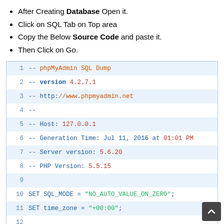After Creating Database Open it.
Click on SQL Tab on Top area
Copy the Below Source Code and paste it.
Then Click on Go.
[Figure (screenshot): phpMyAdmin SQL Dump code block showing lines 1-15 with syntax highlighting. Lines 1-8 are SQL comments (--) with blue/orange coloring. Lines 10-11 show SET statements. Line 14-15 show /*!40101 SET statements.]